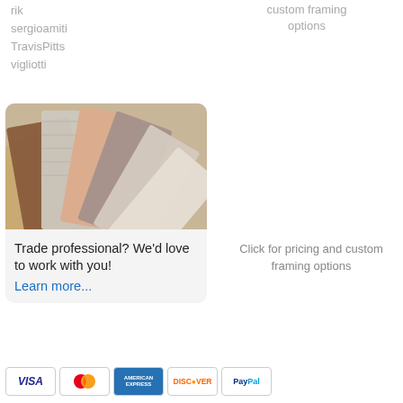rik
sergioamiti
TravisPitts
vigliotti
custom framing options
[Figure (photo): Fan of fabric and material samples in various textures and colors including yellow, brown, gray, and beige tones]
Trade professional? We'd love to work with you! Learn more...
Click for pricing and custom framing options
[Figure (infographic): Payment method icons: VISA, MasterCard, American Express, Discover, PayPal]